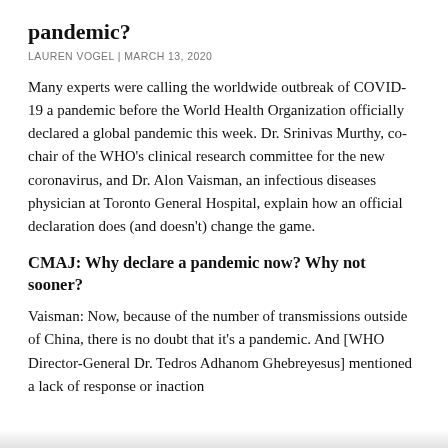pandemic?
LAUREN VOGEL | MARCH 13, 2020
Many experts were calling the worldwide outbreak of COVID-19 a pandemic before the World Health Organization officially declared a global pandemic this week. Dr. Srinivas Murthy, co-chair of the WHO's clinical research committee for the new coronavirus, and Dr. Alon Vaisman, an infectious diseases physician at Toronto General Hospital, explain how an official declaration does (and doesn't) change the game.
CMAJ: Why declare a pandemic now? Why not sooner?
Vaisman: Now, because of the number of transmissions outside of China, there is no doubt that it's a pandemic. And [WHO Director-General Dr. Tedros Adhanom Ghebreyesus] mentioned a lack of response or inaction